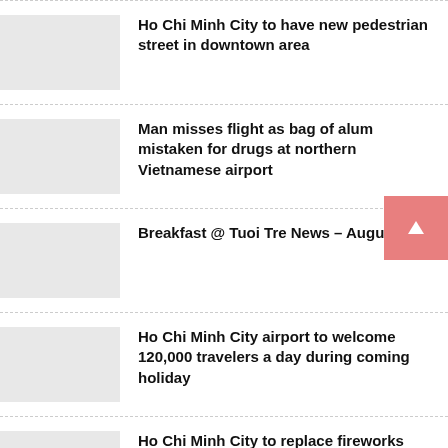Ho Chi Minh City to have new pedestrian street in downtown area
Man misses flight as bag of alum mistaken for drugs at northern Vietnamese airport
Breakfast @ Tuoi Tre News – August 28
Ho Chi Minh City airport to welcome 120,000 travelers a day during coming holiday
Ho Chi Minh City to replace fireworks with hot-air balloon show on National day